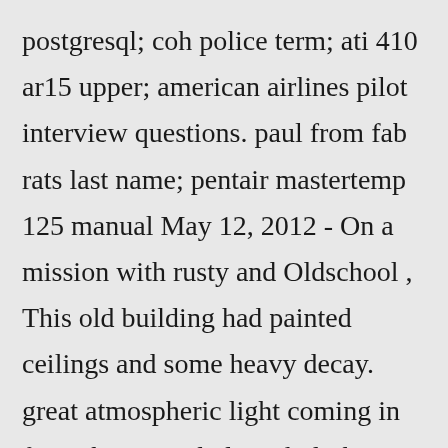postgresql; coh police term; ati 410 ar15 upper; american airlines pilot interview questions. paul from fab rats last name; pentair mastertemp 125 manual May 12, 2012 - On a mission with rusty and Oldschool , This old building had painted ceilings and some heavy decay. great atmospheric light coming in from the stained glass skylights. kohler k301 valve clearance The Abandoned house stood